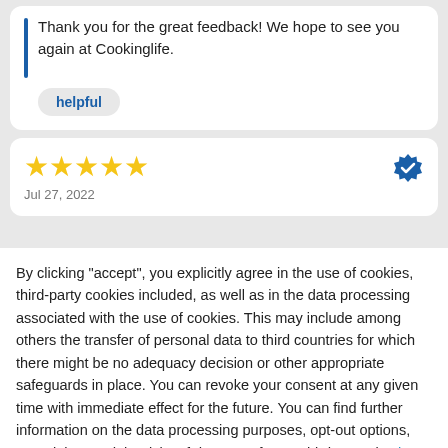Thank you for the great feedback! We hope to see you again at Cookinglife.
helpful
[Figure (other): Five gold stars rating]
Jul 27, 2022
By clicking "accept", you explicitly agree in the use of cookies, third-party cookies included, as well as in the data processing associated with the use of cookies. This may include among others the transfer of personal data to third countries for which there might be no adequacy decision or other appropriate safeguards in place. You can revoke your consent at any given time with immediate effect for the future. You can find further information on the data processing purposes, opt-out options, your rights, and the risks of data transfers to third countries here.
ACCEPT